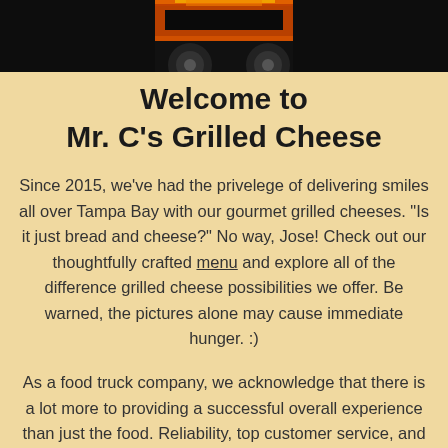[Figure (photo): Top banner showing a dark food truck with orange and yellow flame graphics, partially cropped]
Welcome to Mr. C's Grilled Cheese
Since 2015, we've had the privelege of delivering smiles all over Tampa Bay with our gourmet grilled cheeses. "Is it just bread and cheese?" No way, Jose! Check out our thoughtfully crafted menu and explore all of the difference grilled cheese possibilities we offer. Be warned, the pictures alone may cause immediate hunger. :)
As a food truck company, we acknowledge that there is a lot more to providing a successful overall experience than just the food. Reliability, top customer service, and